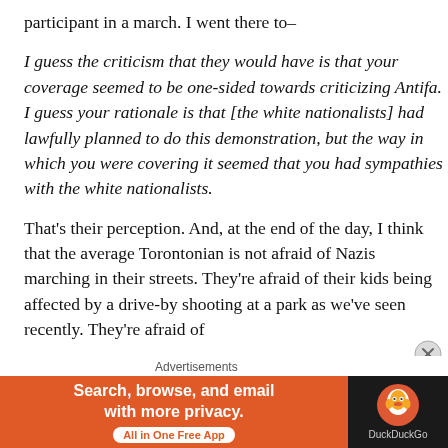participant in a march. I went there to–
I guess the criticism that they would have is that your coverage seemed to be one-sided towards criticizing Antifa. I guess your rationale is that [the white nationalists] had lawfully planned to do this demonstration, but the way in which you were covering it seemed that you had sympathies with the white nationalists.
That's their perception. And, at the end of the day, I think that the average Torontonian is not afraid of Nazis marching in their streets. They're afraid of their kids being affected by a drive-by shooting at a park as we've seen recently. They're afraid of
Advertisements
[Figure (infographic): DuckDuckGo advertisement banner: orange background on left with text 'Search, browse, and email with more privacy.' and 'All in One Free App' pill button; dark right panel with DuckDuckGo duck logo and 'DuckDuckGo' text.]